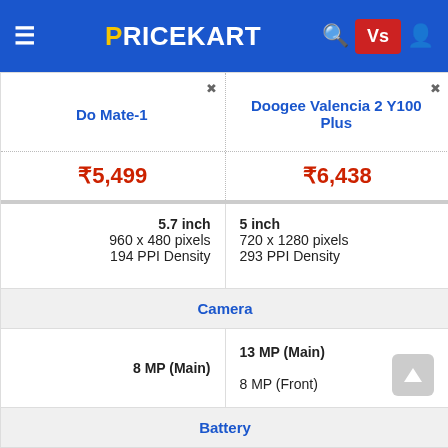PRICEKART — Vs comparison header
| Do Mate-1 | Doogee Valencia 2 Y100 Plus |
| --- | --- |
| ₹5,499 | ₹6,438 |
| 5.7 inch
960 x 480 pixels
194 PPI Density | 5 inch
720 x 1280 pixels
293 PPI Density |
| Camera | Camera |
| 8 MP (Main) | 13 MP (Main)
8 MP (Front) |
| Battery | Battery |
| 2800 mAh
Li-ion | 3000 mAh
Li-ion |